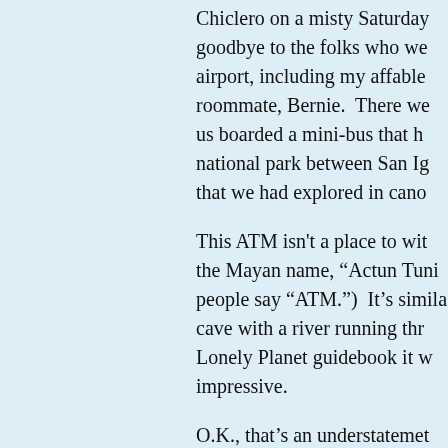Chiclero on a misty Saturday goodbye to the folks who were airport, including my affable roommate, Bernie. There were us boarded a mini-bus that ha national park between San Ig that we had explored in canoe
This ATM isn't a place to with the Mayan name, "Actun Tuni people say "ATM.") It's simila cave with a river running thro Lonely Planet guidebook it w impressive.
O.K., that's an understatemer described, the ATM Cave is pr incredible site not just in Beli America. According to the bo